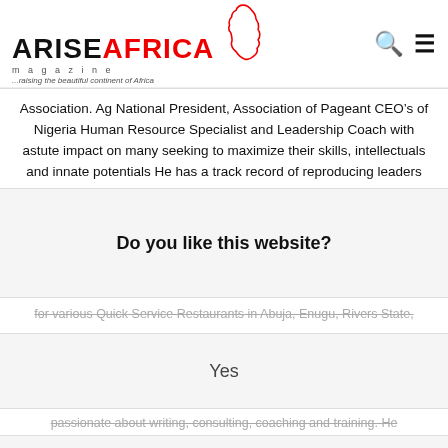[Figure (logo): ARISE AFRICA magazine logo with Africa continent outline and tagline '...raising the beautiful continent of Africa']
Association. Ag National President, Association of Pageant CEO’s of Nigeria Human Resource Specialist and Leadership Coach with astute impact on many seeking to maximize their skills, intellectuals and innate potentials He has a track record of reproducing leaders and helping them to gain dominance within
Do you like this website?
for various Quick Service Restaurants in Abuja, Enugu, Rivers State,
Yes
passionate about writing, consulting, coaching and training. He
No
educating, equipping and empowering young minds for the future.